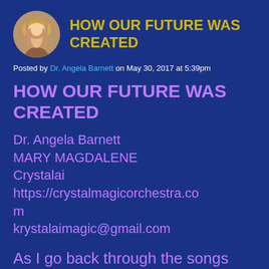[Figure (illustration): Circular avatar photo of a blonde woman]
HOW OUR FUTURE WAS CREATED
Posted by Dr. Angela Barnett on May 30, 2017 at 5:39pm
HOW OUR FUTURE WAS CREATED
Dr. Angela Barnett
MARY MAGDALENE
Crystalai
https://crystalmagicorchestra.com
krystalaimagic@gmail.com
As I go back through the songs on COSMIC CONSCIOUSNESS album, I